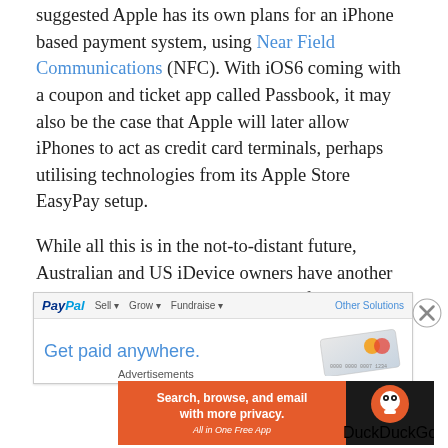suggested Apple has its own plans for an iPhone based payment system, using Near Field Communications (NFC). With iOS6 coming with a coupon and ticket app called Passbook, it may also be the case that Apple will later allow iPhones to act as credit card terminals, perhaps utilising technologies from its Apple Store EasyPay setup.
While all this is in the not-to-distant future, Australian and US iDevice owners have another system just coming onto the market from PayPal, called PayPal Here. Below, the US website announcing its availability.
[Figure (screenshot): Screenshot of PayPal website with navigation bar showing 'Sell', 'Grow', 'Fundraise' tabs and 'Other Solutions' link. Banner shows 'Get paid anywhere.' text in blue with a credit card image on the right.]
Advertisements
[Figure (screenshot): DuckDuckGo advertisement banner with orange background on left showing 'Search, browse, and email with more privacy. All in One Free App' and DuckDuckGo logo on black background on right.]